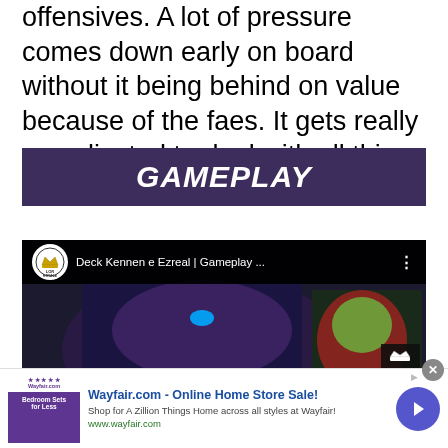offensives. A lot of pressure comes down early on board without it being behind on value because of the faes. It gets really complicated to deal with all this aggression.
GAMEPLAY
[Figure (screenshot): YouTube video thumbnail for 'Deck Kennen e Ezreal | Gameplay ...' from LOR Royale channel, showing a fantasy game character with Team Royale branding.]
[Figure (screenshot): Advertisement banner for Wayfair.com - Online Home Store Sale! with thumbnail, description text, and a call-to-action button.]